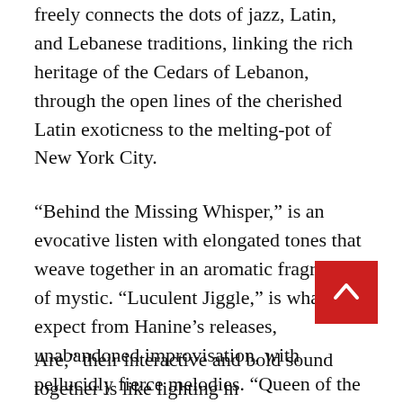freely connects the dots of jazz, Latin, and Lebanese traditions, linking the rich heritage of the Cedars of Lebanon, through the open lines of the cherished Latin exoticness to the melting-pot of New York City.
“Behind the Missing Whisper,” is an evocative listen with elongated tones that weave together in an aromatic fragrance of mystic. “Luculent Jiggle,” is what we expect from Hanine’s releases, unabandoned improvisation, with pellucidly fierce melodies. “Queen of the Underground” transports the listener to the streets of New York City, with its winding melody that glissando’s over Haneine’s active rhythmic textualization. Knoche adds a dark honeyed tone of artistic choices, while Heberer’s muted trumpet adds an extrinsic allure. “Illustrious Bickering” once again employs Knoche’s gorgeous bass clarinet tone, as Sikora hues the composition with a reflective mood.
Bassist Anderson and Haneine shine on “What if What We Are,” their interactive and bold sound together is like lighting in